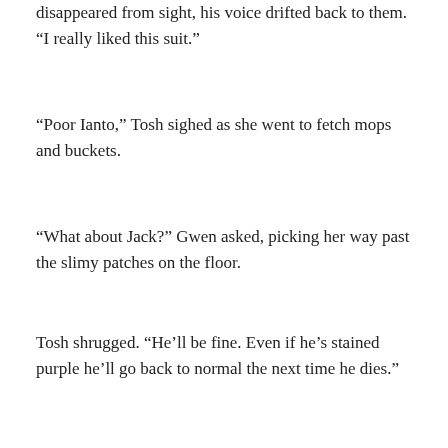disappeared from sight, his voice drifted back to them. “I really liked this suit.”
“Poor Ianto,” Tosh sighed as she went to fetch mops and buckets.
“What about Jack?” Gwen asked, picking her way past the slimy patches on the floor.
Tosh shrugged. “He’ll be fine. Even if he’s stained purple he’ll go back to normal the next time he dies.”